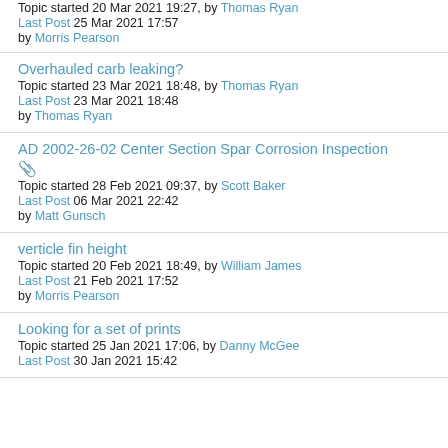Topic started 20 Mar 2021 19:27, by Thomas Ryan
Last Post 25 Mar 2021 17:57
by Morris Pearson
Overhauled carb leaking?
Topic started 23 Mar 2021 18:48, by Thomas Ryan
Last Post 23 Mar 2021 18:48
by Thomas Ryan
AD 2002-26-02 Center Section Spar Corrosion Inspection
Topic started 28 Feb 2021 09:37, by Scott Baker
Last Post 06 Mar 2021 22:42
by Matt Gunsch
verticle fin height
Topic started 20 Feb 2021 18:49, by William James
Last Post 21 Feb 2021 17:52
by Morris Pearson
Looking for a set of prints
Topic started 25 Jan 2021 17:06, by Danny McGee
Last Post 30 Jan 2021 15:42